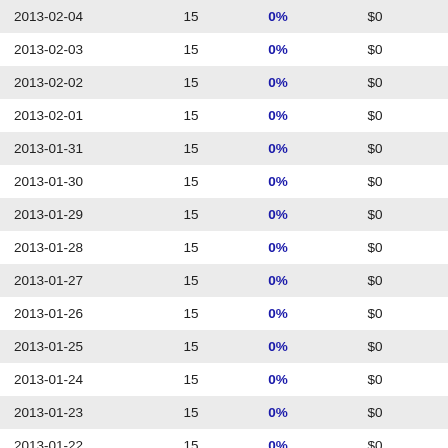| 2013-02-04 | 15 | 0% | $0 | -- |
| 2013-02-03 | 15 | 0% | $0 | -- |
| 2013-02-02 | 15 | 0% | $0 | -- |
| 2013-02-01 | 15 | 0% | $0 | -- |
| 2013-01-31 | 15 | 0% | $0 | -- |
| 2013-01-30 | 15 | 0% | $0 | -- |
| 2013-01-29 | 15 | 0% | $0 | -- |
| 2013-01-28 | 15 | 0% | $0 | -- |
| 2013-01-27 | 15 | 0% | $0 | -- |
| 2013-01-26 | 15 | 0% | $0 | -- |
| 2013-01-25 | 15 | 0% | $0 | -- |
| 2013-01-24 | 15 | 0% | $0 | -- |
| 2013-01-23 | 15 | 0% | $0 | -- |
| 2013-01-22 | 15 | 0% | $0 | -- |
| 2013-01-21 | 15 | 0% | $0 | -- |
| 2013-01-20 | 15 | 0% | $0 | -- |